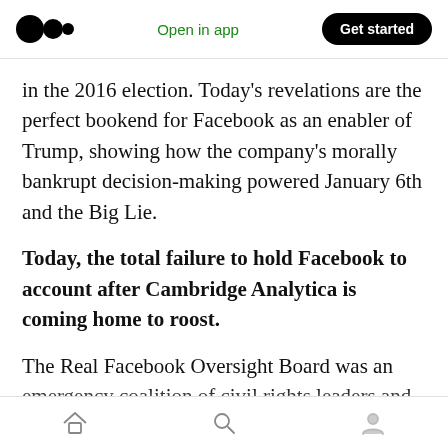Medium logo | Open in app | Get started
in the 2016 election. Today’s revelations are the perfect bookend for Facebook as an enabler of Trump, showing how the company’s morally bankrupt decision-making powered January 6th and the Big Lie.
Today, the total failure to hold Facebook to account after Cambridge Analytica is coming home to roost.
The Real Facebook Oversight Board was an emergency coalition of civil rights leaders and academics who came together to urge Facebook
Home | Search | Profile